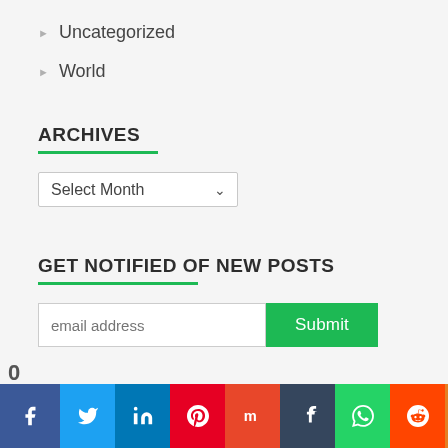Uncategorized
World
ARCHIVES
Select Month
GET NOTIFIED OF NEW POSTS
email address  Submit